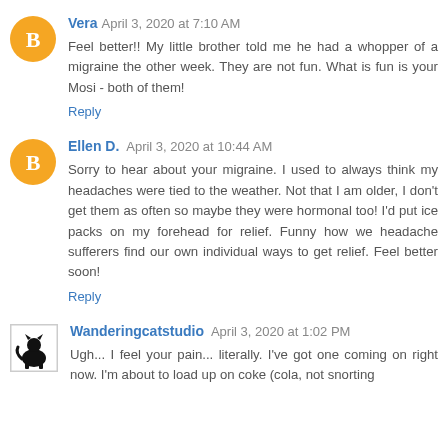Vera April 3, 2020 at 7:10 AM
Feel better!! My little brother told me he had a whopper of a migraine the other week. They are not fun. What is fun is your Mosi - both of them!
Reply
Ellen D. April 3, 2020 at 10:44 AM
Sorry to hear about your migraine. I used to always think my headaches were tied to the weather. Not that I am older, I don't get them as often so maybe they were hormonal too! I'd put ice packs on my forehead for relief. Funny how we headache sufferers find our own individual ways to get relief. Feel better soon!
Reply
Wanderingcatstudio April 3, 2020 at 1:02 PM
Ugh... I feel your pain... literally. I've got one coming on right now. I'm about to load up on coke (cola, not snorting